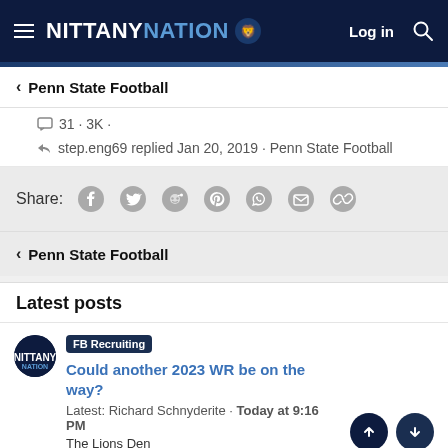NITTANY NATION — Log in
< Penn State Football
31 · 3K ·
step.eng69 replied Jan 20, 2019 · Penn State Football
Share: [Facebook] [Twitter] [Reddit] [Pinterest] [WhatsApp] [Email] [Link]
< Penn State Football
Latest posts
FB Recruiting  Could another 2023 WR be on the way?  Latest: Richard Schnyderite · Today at 9:16 PM  The Lions Den